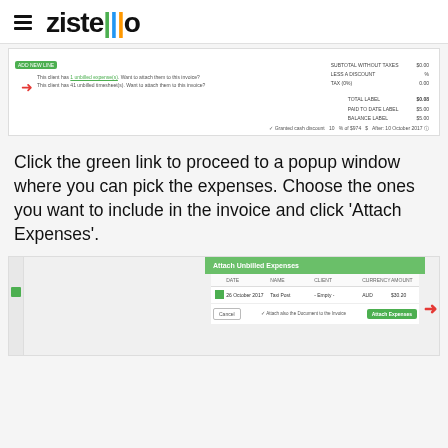Zistemo
[Figure (screenshot): Screenshot of invoice interface showing unbilled expenses notification with red arrow pointing to green link, and right-side showing subtotal without taxes $0.00, less a discount, tax 0.00, total labels $0.00, paid to date $5.00, balance $5.00, and granted cash discount options]
Click the green link to proceed to a popup window where you can pick the expenses. Choose the ones you want to include in the invoice and click ‘Attach Expenses’.
[Figure (screenshot): Screenshot of 'Attach Unbilled Expenses' popup modal with a table showing date 26 October 2017, Taxi Post, Empty, AUD, $30.20, Cancel button, 'Attach also the Document to the Invoice' checkbox, and green Attach Expenses button with red arrow pointing to it]